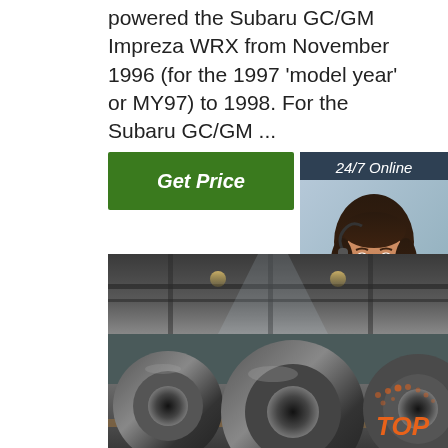powered the Subaru GC/GM Impreza WRX from November 1996 (for the 1997 'model year' or MY97) to 1998. For the Subaru GC/GM ...
[Figure (other): Green 'Get Price' button]
[Figure (other): 24/7 Online customer service sidebar widget with agent photo, 'Click here for free chat!' text, and orange QUOTATION button]
[Figure (photo): Photo of large steel coils stacked in an industrial warehouse/factory setting]
[Figure (other): Orange and white TOP scroll-to-top button with dots in bottom right corner]